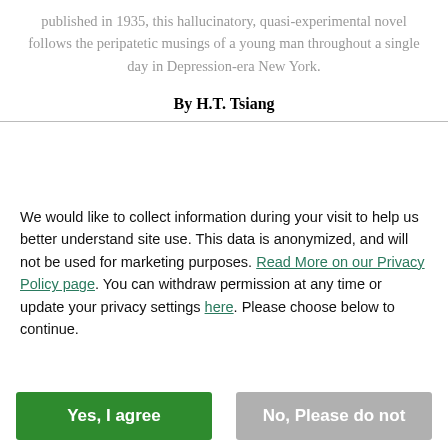published in 1935, this hallucinatory, quasi-experimental novel follows the peripatetic musings of a young man throughout a single day in Depression-era New York.
By H.T. Tsiang
We would like to collect information during your visit to help us better understand site use. This data is anonymized, and will not be used for marketing purposes. Read More on our Privacy Policy page. You can withdraw permission at any time or update your privacy settings here. Please choose below to continue.
Yes, I agree
No, Please do not